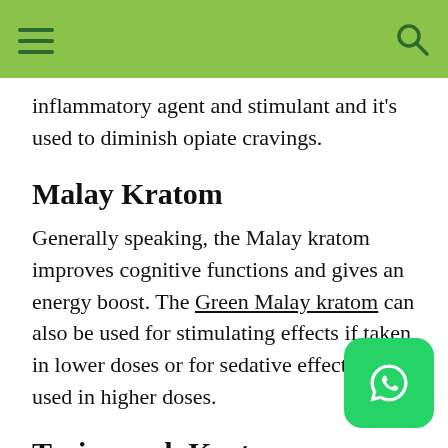inflammatory agent and stimulant and it's used to diminish opiate cravings.
Malay Kratom
Generally speaking, the Malay kratom improves cognitive functions and gives an energy boost. The Green Malay kratom can also be used for stimulating effects if taken in lower doses or for sedative effects when used in higher doses.
Trainwreck Kratom
The Yellow Trainwreck kratom is another unique blend created by combining the leaves of up to 11 trains. The Trainwreck might include Red Bali, Green Malay, White